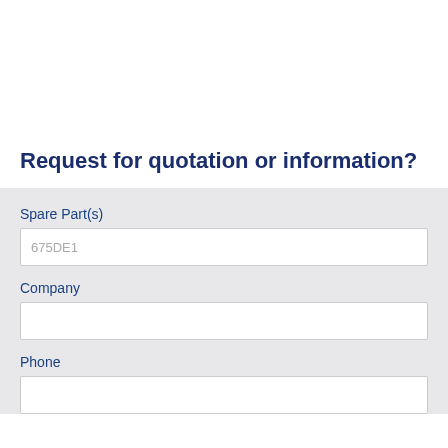Request for quotation or information?
Spare Part(s)
675DE1
Company
Phone